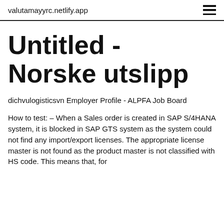valutamayyrc.netlify.app
Untitled - Norske utslipp
dichvulogisticsvn Employer Profile - ALPFA Job Board
How to test: – When a Sales order is created in SAP S/4HANA system, it is blocked in SAP GTS system as the system could not find any import/export licenses. The appropriate license master is not found as the product master is not classified with HS code. This means that, for